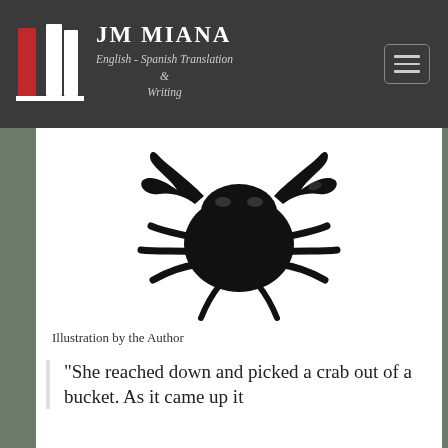[Figure (logo): JM Miana logo with two book silhouettes (one red, one white) on a dark background with a white underline]
JM MIANA
English - Spanish Translation
&
Writing
[Figure (illustration): Black silhouette illustration of a crab viewed from above, with claws raised]
Illustration by the Author
“She reached down and picked a crab out of a bucket. As it came up it